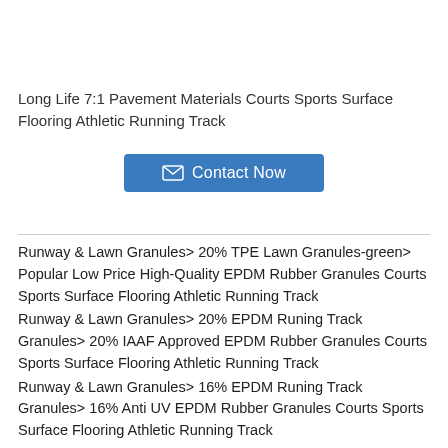Long Life 7:1 Pavement Materials Courts Sports Surface Flooring Athletic Running Track
[Figure (other): Contact Now button with envelope icon]
Runway & Lawn Granules> 20% TPE Lawn Granules-green> Popular Low Price High-Quality EPDM Rubber Granules Courts Sports Surface Flooring Athletic Running Track
Runway & Lawn Granules> 20% EPDM Runing Track Granules> 20% IAAF Approved EPDM Rubber Granules Courts Sports Surface Flooring Athletic Running Track
Runway & Lawn Granules> 16% EPDM Runing Track Granules> 16% Anti UV EPDM Rubber Granules Courts Sports Surface Flooring Athletic Running Track